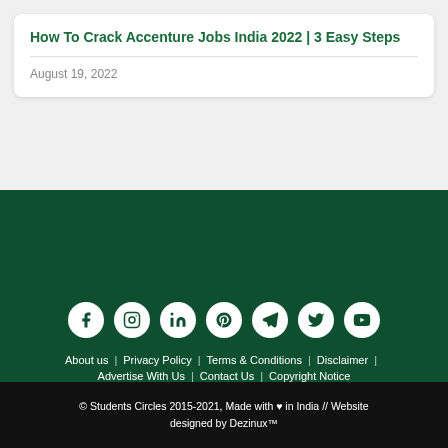How To Crack Accenture Jobs India 2022 | 3 Easy Steps
August 19, 2022
[Figure (other): Social media icons row: Facebook, Instagram, LinkedIn, Pinterest, Telegram, Twitter, YouTube — white circles on dark green background]
About us | Privacy Policy | Terms & Conditions | Disclaimer | Advertise With Us | Contact Us | Copyright Notice
© Students Circles 2015-2021, Made with ♥ in India // Website designed by Dezinux™